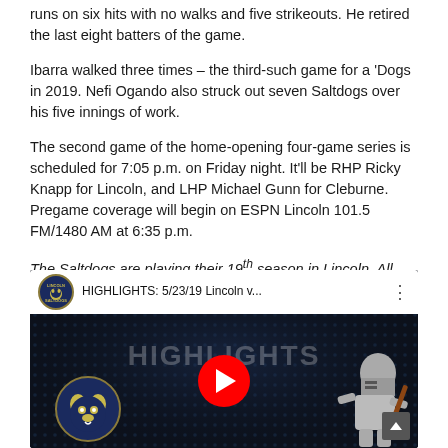runs on six hits with no walks and five strikeouts. He retired the last eight batters of the game.
Ibarra walked three times – the third-such game for a 'Dogs in 2019. Nefi Ogando also struck out seven Saltdogs over his five innings of work.
The second game of the home-opening four-game series is scheduled for 7:05 p.m. on Friday night. It'll be RHP Ricky Knapp for Lincoln, and LHP Michael Gunn for Cleburne. Pregame coverage will begin on ESPN Lincoln 101.5 FM/1480 AM at 6:35 p.m.
The Saltdogs are playing their 19th season in Lincoln. All ticket and promo information can be found at saltdogs.com, and follow the 'Dogs on Twitter/Instagram @saltdogsball.
[Figure (screenshot): YouTube video thumbnail showing 'HIGHLIGHTS: 5/23/19 Lincoln v...' with the Lincoln Saltdogs logo, a knight mascot figure, and a red YouTube play button on a dark dot-pattern background.]